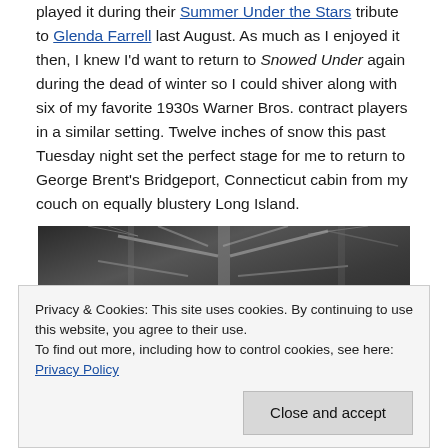played it during their Summer Under the Stars tribute to Glenda Farrell last August. As much as I enjoyed it then, I knew I'd want to return to Snowed Under again during the dead of winter so I could shiver along with six of my favorite 1930s Warner Bros. contract players in a similar setting. Twelve inches of snow this past Tuesday night set the perfect stage for me to return to George Brent's Bridgeport, Connecticut cabin from my couch on equally blustery Long Island.
[Figure (photo): Black and white photograph showing bare winter trees with branches against a dark background, appearing to be a snowy or wintry outdoor scene.]
Privacy & Cookies: This site uses cookies. By continuing to use this website, you agree to their use. To find out more, including how to control cookies, see here: Privacy Policy
Close and accept